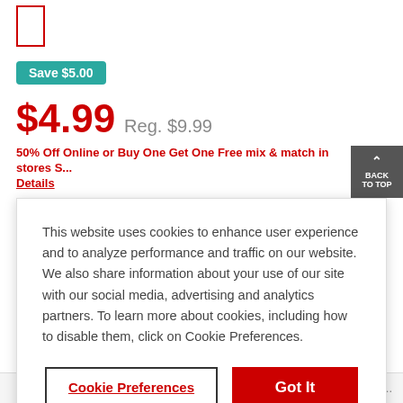[Figure (other): Red outlined rectangle/box, partial product image placeholder]
Save $5.00
$4.99  Reg. $9.99
50% Off Online or Buy One Get One Free mix & match in stores S... Details
This website uses cookies to enhance user experience and to analyze performance and traffic on our website. We also share information about your use of our site with our social media, advertising and analytics partners. To learn more about cookies, including how to disable them, click on Cookie Preferences.
Cookie Preferences
Got It